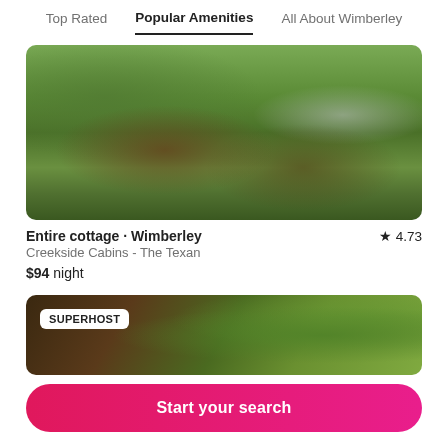Top Rated   Popular Amenities   All About Wimberley
[Figure (photo): Outdoor nature scene with green mossy ground, water, and animal near creek]
Entire cottage · Wimberley  ★ 4.73
Creekside Cabins - The Texan
$94 night
[Figure (photo): Exterior of cabin with dark roof and green trees, SUPERHOST badge overlay]
Start your search